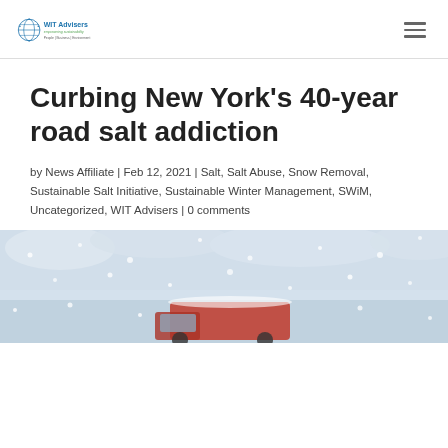WIT Advisers — empowering sustainability | People | Business | Environment
Curbing New York's 40-year road salt addiction
by News Affiliate | Feb 12, 2021 | Salt, Salt Abuse, Snow Removal, Sustainable Salt Initiative, Sustainable Winter Management, SWiM, Uncategorized, WIT Advisers | 0 comments
[Figure (photo): Snow-covered scene with a red vehicle partially visible, snowplow or truck in a heavy snowstorm with blue-white snowy background]